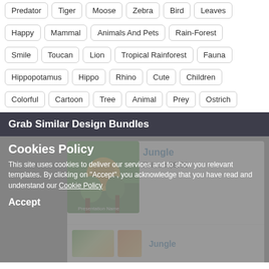Predator | Tiger | Moose | Zebra | Bird | Leaves
Happy | Mammal | Animals And Pets | Rain-Forest
Smile | Toucan | Lion | Tropical Rainforest | Fauna
Hippopotamus | Hippo | Rhino | Cute | Children
Colorful | Cartoon | Tree | Animal | Prey | Ostrich
Grab Similar Design Bundles
Cookies Policy
This site uses cookies to deliver our services and to show you relevant templates. By clicking on "Accept", you acknowledge that you have read and understand our Cookie Policy
Accept
Jungle
Price : $9.00
Jungle